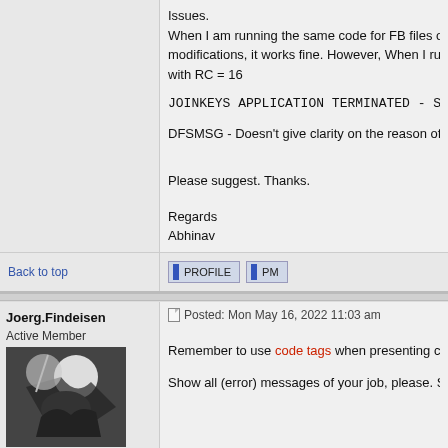Issues.
When I am running the same code for FB files of length say 1... modifications, it works fine. However, When I run it for FB File... with RC = 16

JOINKEYS APPLICATION TERMINATED - SEE DFSMSG M...

DFSMSG - Doesn't give clarity on the reason of failure.

Please suggest. Thanks.

Regards
Abhinav
Back to top
Joerg.Findeisen
Active Member
Posted: Mon May 16, 2022 11:03 am
Remember to use code tags when presenting code/data to th...
Show all (error) messages of your job, please. See also REG...